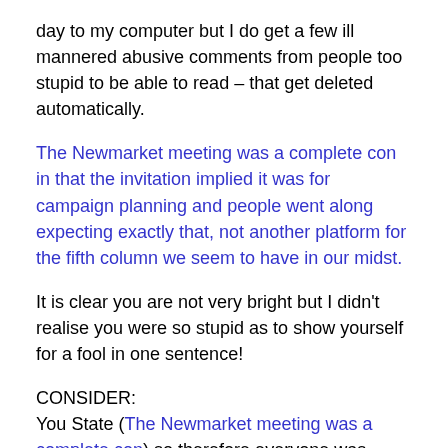day to my computer but I do get a few ill mannered abusive comments from people too stupid to be able to read – that get deleted automatically.
The Newmarket meeting was a complete con in that the invitation implied it was for campaign planning and people went along expecting exactly that, not another platform for the fifth column we seem to have in our midst.
It is clear you are not very bright but I didn't realise you were so stupid as to show yourself for a fool in one sentence!
CONSIDER:
You State (The Newmarket meeting was a complete con) so therefore everyone was, according to you 'duped' into attending – but interestingly of the activists who attended,